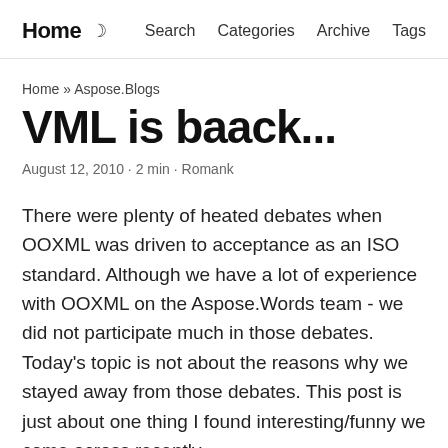Home  Search  Categories  Archive  Tags
Home » Aspose.Blogs
VML is baack...
August 12, 2010 · 2 min · Romank
There were plenty of heated debates when OOXML was driven to acceptance as an ISO standard. Although we have a lot of experience with OOXML on the Aspose.Words team - we did not participate much in those debates. Today's topic is not about the reasons why we stayed away from those debates. This post is just about one thing I found interesting/funny we came across recently.